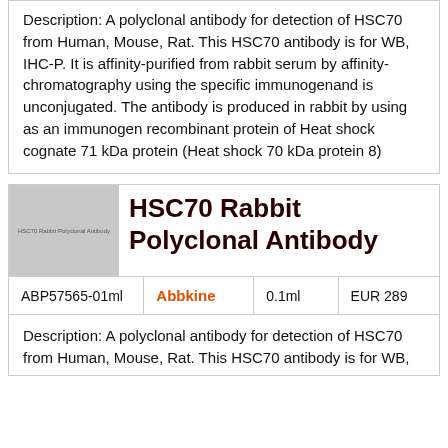Description: A polyclonal antibody for detection of HSC70 from Human, Mouse, Rat. This HSC70 antibody is for WB, IHC-P. It is affinity-purified from rabbit serum by affinity-chromatography using the specific immunogenand is unconjugated. The antibody is produced in rabbit by using as an immunogen recombinant protein of Heat shock cognate 71 kDa protein (Heat shock 70 kDa protein 8)
[Figure (photo): Product image placeholder for HSC70 Rabbit Polyclonal Antibody, grey rectangle with text label]
HSC70 Rabbit Polyclonal Antibody
| ABP57565-01ml | Abbkine | 0.1ml | EUR 289 |
| --- | --- | --- | --- |
Description: A polyclonal antibody for detection of HSC70 from Human, Mouse, Rat. This HSC70 antibody is for WB,